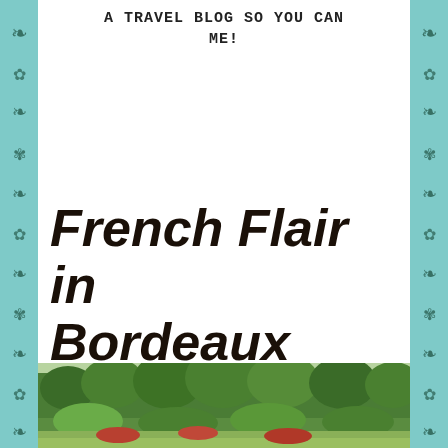A TRAVEL BLOG SO YOU CAN ME!
French Flair in Bordeaux
BY ENDLESSLYELISE / OCTOBER 11, 2017
[Figure (photo): Outdoor photo showing green trees and vineyard landscape in Bordeaux]